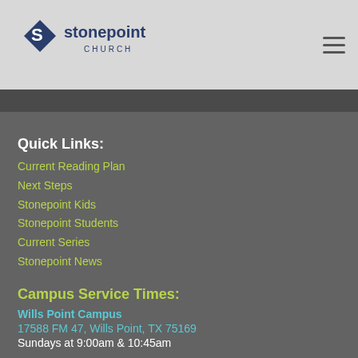[Figure (logo): Stonepoint Church logo with stylized S diamond icon and text 'stonepoint CHURCH']
Quick Links:
Current Reading Plan
Next Steps
Stonepoint Kids
Stonepoint Students
Current Series
Stonepoint News
Campus Service Times:
Wills Point Campus
17588 FM 47, Wills Point, TX 75169
Sundays at 9:00am & 10:45am
Edgewood Campus